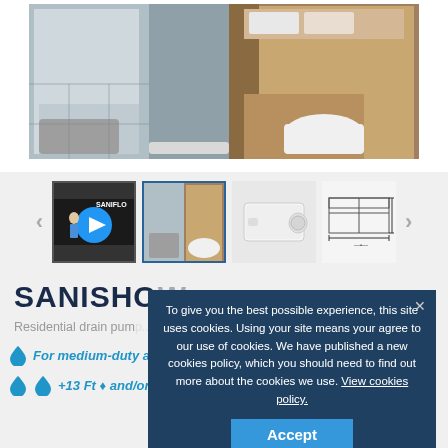[Figure (photo): Main product image showing a modern bathroom with shower, cabinetry, and SANISHOW macerator pump unit installed behind wooden cabinet]
[Figure (screenshot): Thumbnail strip with 4 images: video thumbnail with play button, bathroom installation photo (active/selected), product top view, and technical drawing]
SANISHOW
Residential drain pump...
For medium-duty application...
Cookie consent overlay: To give you the best possible experience, this site uses cookies. Using your site means your agree to our use of cookies. We have published a new cookies policy, which you should need to find out more about the cookies we use. View cookies policy.
Accept